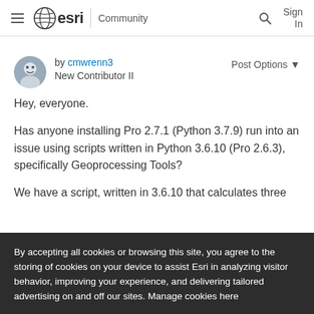≡ esri | Community   🔍 Sign In
by cmwrenn3
New Contributor II
Post Options ▼
Hey, everyone.
Has anyone installing Pro 2.7.1 (Python 3.7.9) run into an issue using scripts written in Python 3.6.10 (Pro 2.6.3), specifically Geoprocessing Tools?
We have a script, written in 3.6.10 that calculates three
By accepting all cookies or browsing this site, you agree to the storing of cookies on your device to assist Esri in analyzing visitor behavior, improving your experience, and delivering tailored advertising on and off our sites. Manage cookies here